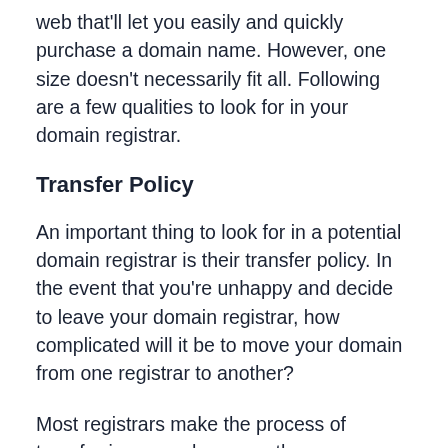web that'll let you easily and quickly purchase a domain name. However, one size doesn't necessarily fit all. Following are a few qualities to look for in your domain registrar.
Transfer Policy
An important thing to look for in a potential domain registrar is their transfer policy. In the event that you're unhappy and decide to leave your domain registrar, how complicated will it be to move your domain from one registrar to another?
Most registrars make the process of transferring easy; however, there are some companies out there who may put up a fight or even try to